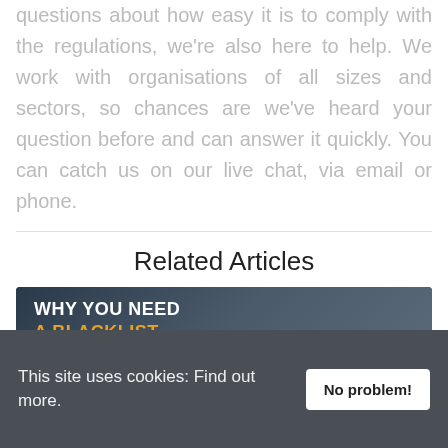questions about how easy it is to comply with the regulations, we're also here to help. We work with organisations of all sizes and sectors, so chances are we've heard your question before and can answer it quickly. You can catch us on our live chat, via email or phone.
Related Articles
[Figure (other): Article card image with dark blue textured background and bold text reading 'WHY YOU NEED A BLACKLIST']
This site uses cookies: Find out more.